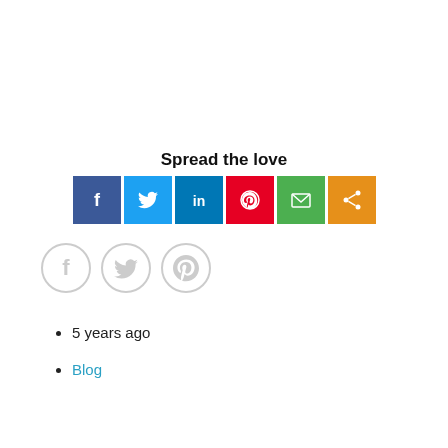Spread the love
[Figure (infographic): Social sharing buttons row: Facebook (dark blue), Twitter (light blue), LinkedIn (blue), Pinterest (red), Email (green), Share (orange)]
[Figure (infographic): Three grey circle outline social icons: Facebook, Twitter, Pinterest]
5 years ago
Blog